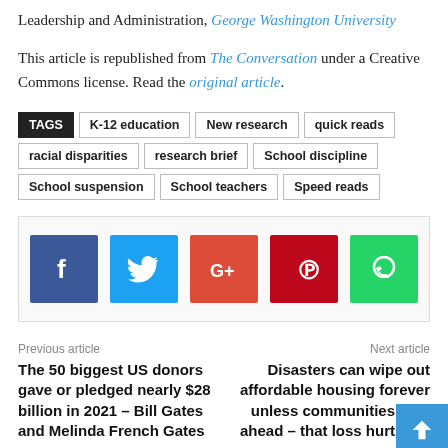Leadership and Administration, George Washington University
This article is republished from The Conversation under a Creative Commons license. Read the original article.
TAGS: K-12 education, New research, quick reads, racial disparities, research brief, School discipline, School suspension, School teachers, Speed reads
[Figure (infographic): Social sharing icons: Facebook (blue), Twitter (light blue), Google+ (red-orange), Pinterest (dark red), WhatsApp (green)]
Previous article: The 50 biggest US donors gave or pledged nearly $28 billion in 2021 – Bill Gates and Melinda French Gates ...
Next article: Disasters can wipe out affordable housing forever unless communities plan ahead – that loss hurts the ...